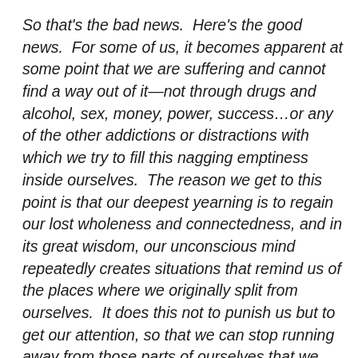So that's the bad news.  Here's the good news.  For some of us, it becomes apparent at some point that we are suffering and cannot find a way out of it—not through drugs and alcohol, sex, money, power, success…or any of the other addictions or distractions with which we try to fill this nagging emptiness inside ourselves.  The reason we get to this point is that our deepest yearning is to regain our lost wholeness and connectedness, and in its great wisdom, our unconscious mind repeatedly creates situations that remind us of the places where we originally split from ourselves.  It does this not to punish us but to get our attention, so that we can stop running away from those parts of ourselves that we have split off from.  If we are willing to face ourselves, we can [heal into the wholeness that was always there for us from the beginning...